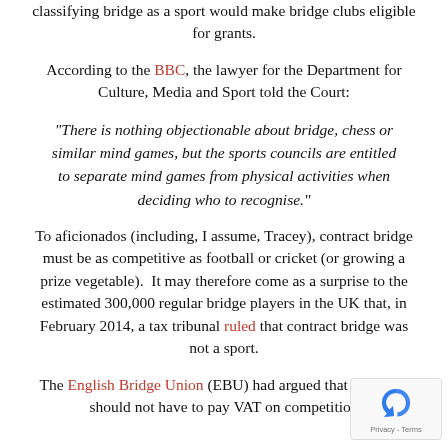classifying bridge as a sport would make bridge clubs eligible for grants.
According to the BBC, the lawyer for the Department for Culture, Media and Sport told the Court:
“There is nothing objectionable about bridge, chess or similar mind games, but the sports councils are entitled to separate mind games from physical activities when deciding who to recognise.”
To aficionados (including, I assume, Tracey), contract bridge must be as competitive as football or cricket (or growing a prize vegetable).  It may therefore come as a surprise to the estimated 300,000 regular bridge players in the UK that, in February 2014, a tax tribunal ruled that contract bridge was not a sport.
The English Bridge Union (EBU) had argued that members should not have to pay VAT on competition